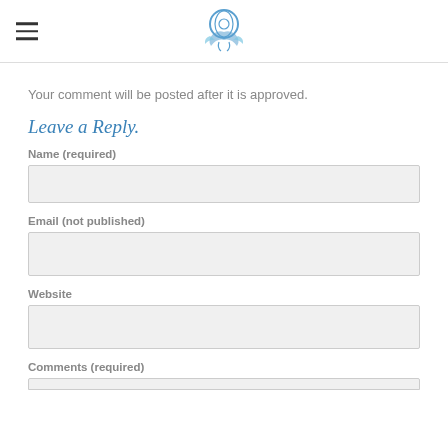[Figure (logo): Website logo: decorative circular emblem with blue floral/ocean motif]
Your comment will be posted after it is approved.
Leave a Reply.
Name (required)
Email (not published)
Website
Comments (required)